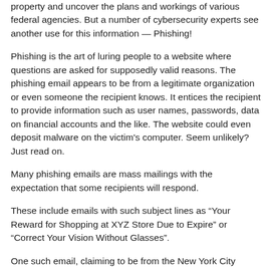property and uncover the plans and workings of various federal agencies. But a number of cybersecurity experts see another use for this information — Phishing!
Phishing is the art of luring people to a website where questions are asked for supposedly valid reasons. The phishing email appears to be from a legitimate organization or even someone the recipient knows. It entices the recipient to provide information such as user names, passwords, data on financial accounts and the like. The website could even deposit malware on the victim's computer. Seem unlikely? Just read on.
Many phishing emails are mass mailings with the expectation that some recipients will respond.
These include emails with such subject lines as “Your Reward for Shopping at XYZ Store Due to Expire” or “Correct Your Vision Without Glasses”.
One such email, claiming to be from the New York City Police